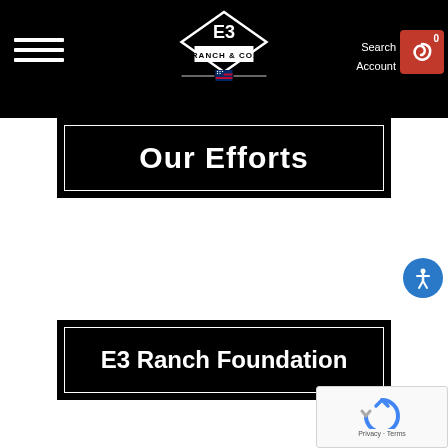E3 Ranch & Co. — Navigation bar with hamburger menu, logo, Search/Account links, and cart button
Our Efforts
E3 Ranch Foundation
[Figure (other): Google reCAPTCHA widget with Privacy and Terms links]